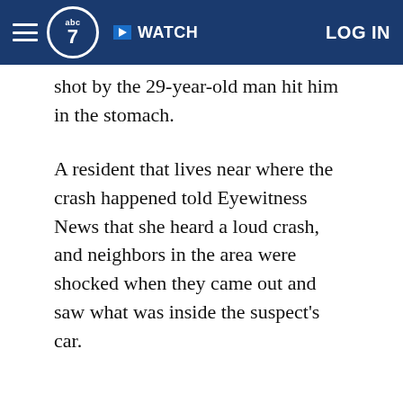abc7 WATCH LOG IN
…shot by the 29-year-old man hit him in the stomach.
A resident that lives near where the crash happened told Eyewitness News that she heard a loud crash, and neighbors in the area were shocked when they came out and saw what was inside the suspect's car.